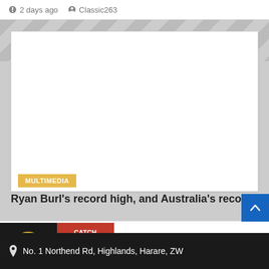2 days ago  Classic263
[Figure (screenshot): White content card placeholder area on a tiled grey background]
MULTIMEDIA
Ryan Burl's record high, and Australia's record
[Figure (logo): Classic 263 radio logo with headphones on dark background, with LISTEN LIVE button]
[Figure (photo): Red promotional image with CATCH THEGIGMASTER text in yellow and white]
The Moonlight
Tuesday, 00:00 - 03:00
No. 1 Northend Rd, Highlands, Harare, ZW